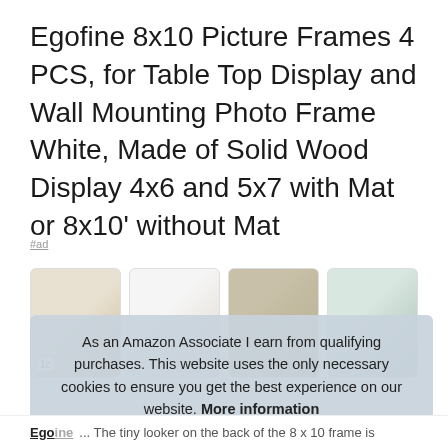Egofine 8x10 Picture Frames 4 PCS, for Table Top Display and Wall Mounting Photo Frame White, Made of Solid Wood Display 4x6 and 5x7 with Mat or 8x10' without Mat
#ad
[Figure (photo): Four thumbnail images of picture frames in a horizontal row; first shows a frame on a surface, second shows frames propped up, third shows a landscape-oriented decorative frame, fourth shows multiple frames on a teal background. Badge showing '1c' visible on first thumbnail.]
As an Amazon Associate I earn from qualifying purchases. This website uses the only necessary cookies to ensure you get the best experience on our website. More information
Egofine ... The tiny looker on the back of the 8 x 10 frame is